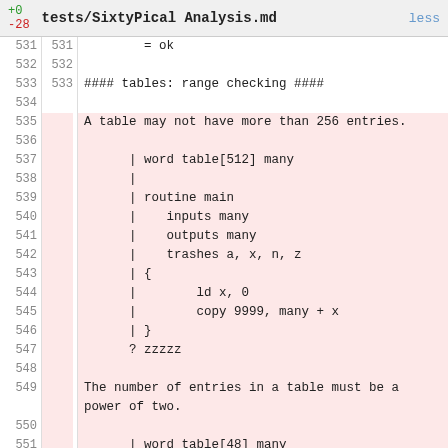+0 -28   tests/SixtyPical Analysis.md   less
531  531      = ok
532  532
533  533  #### tables: range checking ####
534
535       A table may not have more than 256 entries.
536
537            | word table[512] many
538            |
539            | routine main
540            |    inputs many
541            |    outputs many
542            |    trashes a, x, n, z
543            | {
544            |        ld x, 0
545            |        copy 9999, many + x
546            | }
547            ? zzzzz
548
549       The number of entries in a table must be a
          power of two.
550
551            | word table[48] many
552            |